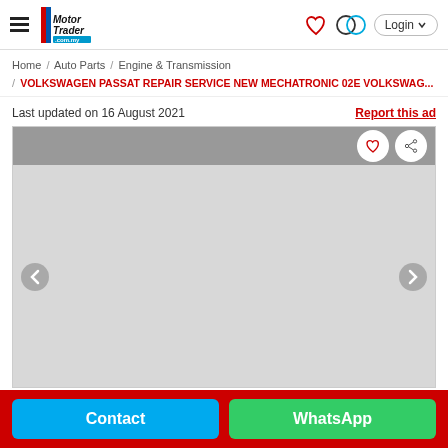Motor Trader .com.my — Login
Home / Auto Parts / Engine & Transmission / VOLKSWAGEN PASSAT REPAIR SERVICE NEW MECHATRONIC 02E VOLKSWAG...
Last updated on 16 August 2021
Report this ad
[Figure (photo): Product image gallery placeholder with navigation arrows and action buttons (heart and share)]
Contact
WhatsApp